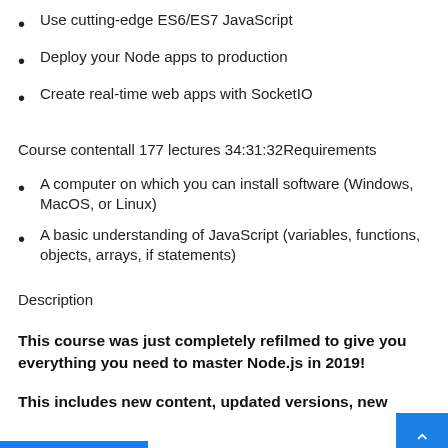Use cutting-edge ES6/ES7 JavaScript
Deploy your Node apps to production
Create real-time web apps with SocketIO
Course contentall 177 lectures 34:31:32Requirements
A computer on which you can install software (Windows, MacOS, or Linux)
A basic understanding of JavaScript (variables, functions, objects, arrays, if statements)
Description
This course was just completely refilmed to give you everything you need to master Node.js in 2019!
This includes new content, updated versions, new